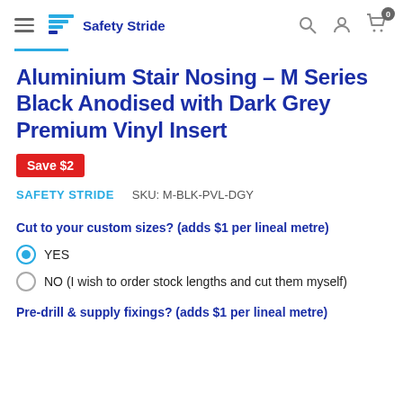[Figure (logo): Safety Stride logo with blue chevron/flag icon and bold text 'Safety Stride']
Aluminium Stair Nosing - M Series Black Anodised with Dark Grey Premium Vinyl Insert
Save $2
SAFETY STRIDE   SKU: M-BLK-PVL-DGY
Cut to your custom sizes? (adds $1 per lineal metre)
YES
NO (I wish to order stock lengths and cut them myself)
Pre-drill & supply fixings? (adds $1 per lineal metre)